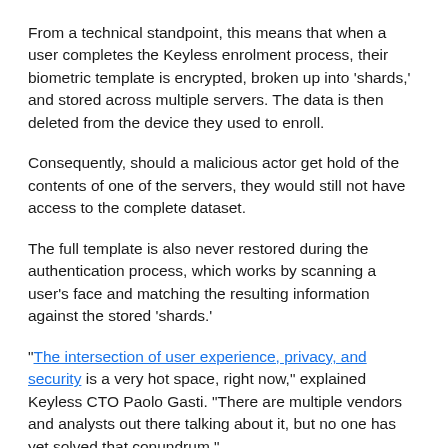From a technical standpoint, this means that when a user completes the Keyless enrolment process, their biometric template is encrypted, broken up into ‘shards,’ and stored across multiple servers. The data is then deleted from the device they used to enroll.
Consequently, should a malicious actor get hold of the contents of one of the servers, they would still not have access to the complete dataset.
The full template is also never restored during the authentication process, which works by scanning a user’s face and matching the resulting information against the stored ‘shards.’
“The intersection of user experience, privacy, and security is a very hot space, right now,” explained Keyless CTO Paolo Gasti. “There are multiple vendors and analysts out there talking about it, but no one has yet solved that conundrum.”
From a regulatory perspective, the newly-patented technology is compliant with both GDPR and PSD2 SCA requirements, and therefore particularly suited to customers working in highly...